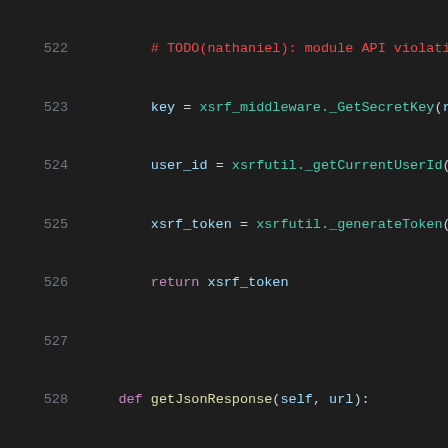[Figure (screenshot): Python source code snippet showing lines 522-543 of a file, displayed in a dark-themed code editor. Lines show methods getJsonResponse, getListResponse, and getListData with syntax highlighting.]